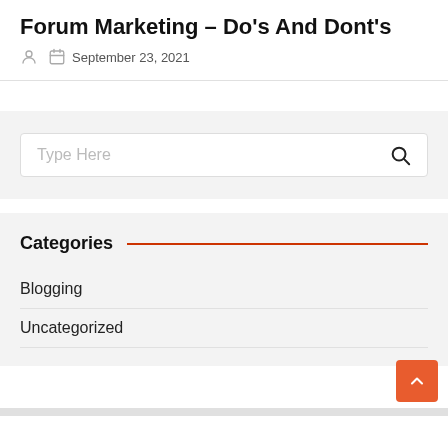Forum Marketing – Do's And Dont's
September 23, 2021
[Figure (other): Search box with placeholder 'Type Here' and a search icon button]
Categories
Blogging
Uncategorized